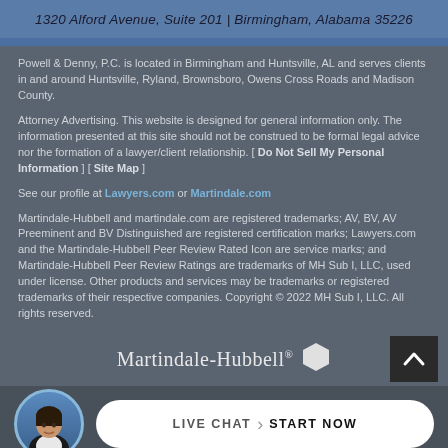1320 Alford Avenue, Suite 201 | Birmingham, Alabama 35226
Powell & Denny, P.C. is located in Birmingham and Huntsville, AL and serves clients in and around Huntsville, Ryland, Brownsboro, Owens Cross Roads and Madison County.
Attorney Advertising. This website is designed for general information only. The information presented at this site should not be construed to be formal legal advice nor the formation of a lawyer/client relationship. [ Do Not Sell My Personal Information ] [ Site Map ]
See our profile at Lawyers.com or Martindale.com
Martindale-Hubbell and martindale.com are registered trademarks; AV, BV, AV Preeminent and BV Distinguished are registered certification marks; Lawyers.com and the Martindale-Hubbell Peer Review Rated Icon are service marks; and Martindale-Hubbell Peer Review Ratings are trademarks of MH Sub I, LLC, used under license. Other products and services may be trademarks or registered trademarks of their respective companies. Copyright © 2022 MH Sub I, LLC. All rights reserved.
[Figure (logo): Martindale-Hubbell logo with hexagon badge]
[Figure (infographic): Live Chat - Start Now button with female avatar]